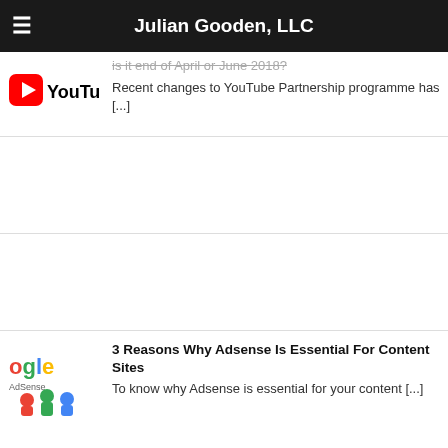Julian Gooden, LLC
is it end of April or June 2018? Recent changes to YouTube Partnership programme has [...]
[Figure (logo): YouTube logo with red play button icon and 'YouTub' text visible]
3 Reasons Why Adsense Is Essential For Content Sites
To know why Adsense is essential for your content [...]
[Figure (logo): Google AdSense logo with colorful figures]